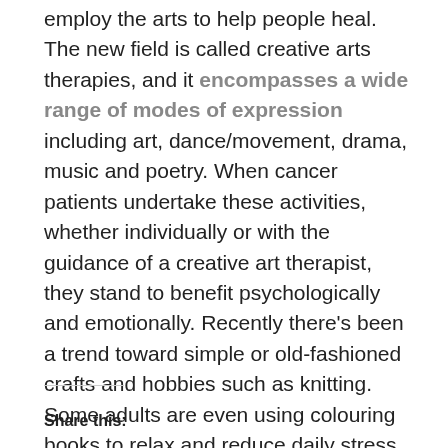employ the arts to help people heal. The new field is called creative arts therapies, and it encompasses a wide range of modes of expression including art, dance/movement, drama, music and poetry. When cancer patients undertake these activities, whether individually or with the guidance of a creative art therapist, they stand to benefit psychologically and emotionally. Recently there's been a trend toward simple or old-fashioned crafts and hobbies such as knitting. Some adults are even using colouring books to relax and reduce daily stress. This concept started several years ago with the publication of Johanna Basford's Secret Garden. Her colouring book for adults has since been translated into 14 languages and has sold over one million copies.
Share this: